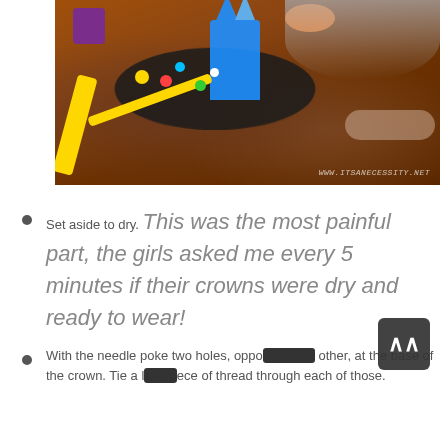[Figure (photo): A photo showing a blue paper crown craft on a wooden table. A black tray with colorful dots, a purple cup, an orange bowl, and yellow sticks/straws are visible. A child is partially visible in the background. Watermark reads WWW.ITSANECESSITY.NET]
Set aside to dry. This was the most painful part, the girls asked me every 5 minutes if their crowns were dry and ready to wear!
With the needle poke two holes, opposite each other, at the base of the crown. Tie a long piece of thread through each of those.